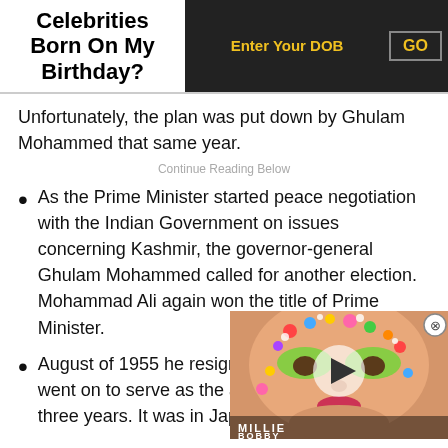Celebrities Born On My Birthday?
Unfortunately, the plan was put down by Ghulam Mohammed that same year.
Continue Reading Below
As the Prime Minister started peace negotiation with the Indian Government on issues concerning Kashmir, the governor-general Ghulam Mohammed called for another election. Mohammad Ali again won the title of Prime Minister.
August of 1955 he resigned went on to serve as the am three years. It was in Japan
[Figure (screenshot): Video overlay thumbnail showing a face with colorful makeup and candy decorations, with a play button in the center and text 'MILLIE BOBBY' at the bottom]